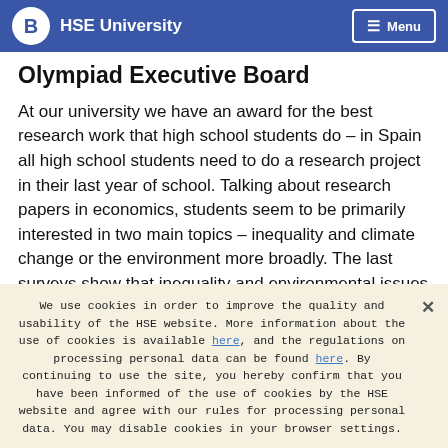HSE University | Menu
Olympiad Executive Board
At our university we have an award for the best research work that high school students do – in Spain all high school students need to do a research project in their last year of school. Talking about research papers in economics, students seem to be primarily interested in two main topics – inequality and climate change or the environment more broadly. The last surveys show that inequality and environmental issues have become
We use cookies in order to improve the quality and usability of the HSE website. More information about the use of cookies is available here, and the regulations on processing personal data can be found here. By continuing to use the site, you hereby confirm that you have been informed of the use of cookies by the HSE website and agree with our rules for processing personal data. You may disable cookies in your browser settings.